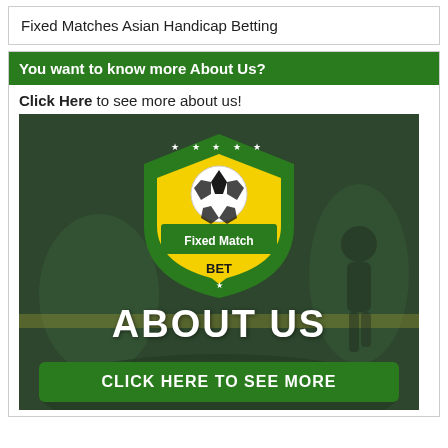Fixed Matches Asian Handicap Betting
You want to know more About Us?
Click Here to see more about us!
[Figure (logo): Fixed Match Bet logo with soccer ball and shield, 'ABOUT US' text, and 'CLICK HERE TO SEE MORE' green button on a blurred soccer field background]